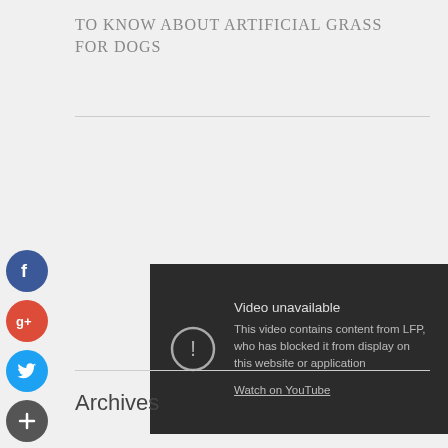TO KNOW ABOUT ARTIFICIAL GRASS FOR DOGS
[Figure (screenshot): Embedded YouTube video player showing 'Video unavailable' message. Text reads: 'This video contains content from LFP, who has blocked it from display on this website or application. Watch on YouTube']
Archives